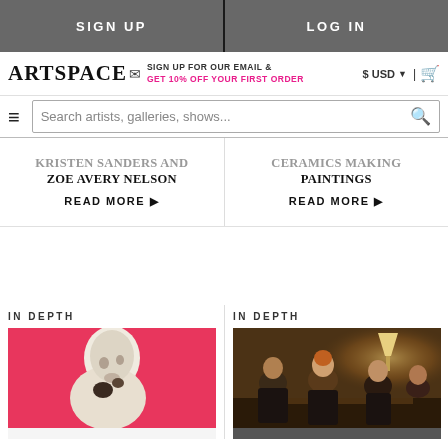SIGN UP | LOG IN
ARTSPACE — SIGN UP FOR OUR EMAIL & GET 10% OFF YOUR FIRST ORDER — $ USD | cart
Search artists, galleries, shows...
KRISTEN SANDERS AND ZOE AVERY NELSON
READ MORE ▶
CERAMICS MAKING PAINTINGS
READ MORE ▶
IN DEPTH
[Figure (photo): Pink background with abstract figurative ceramic sculpture silhouette]
IN DEPTH
[Figure (photo): Dark room scene with people in formal attire, warm lamp light]